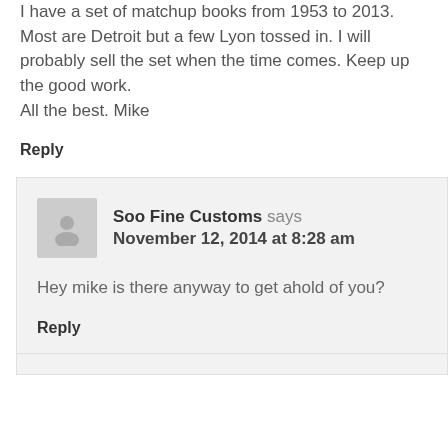I have a set of matchup books from 1953 to 2013. Most are Detroit but a few Lyon tossed in. I will probably sell the set when the time comes. Keep up the good work.
All the best. Mike
Reply
Soo Fine Customs says
November 12, 2014 at 8:28 am
Hey mike is there anyway to get ahold of you?
Reply